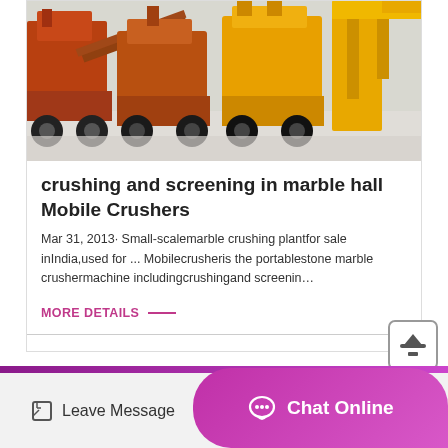[Figure (photo): Industrial mobile crushing and screening equipment — orange and yellow heavy machinery on a concrete surface]
crushing and screening in marble hall Mobile Crushers
Mar 31, 2013· Small-scalemarble crushing plantfor sale inIndia,used for ... Mobilecrusheris the portablestone marble crushermachine includingcrushingand screenin…
MORE DETAILS
Leave Message
Chat Online